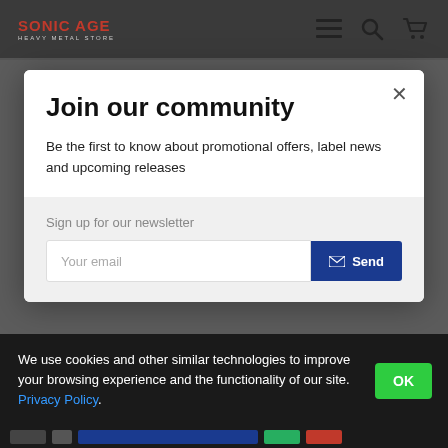SONIC AGE HEAVY METAL STORE
Join our community
Be the first to know about promotional offers, label news and upcoming releases
Sign up for our newsletter
Your email
Send
We use cookies and other similar technologies to improve your browsing experience and the functionality of our site. Privacy Policy.
OK